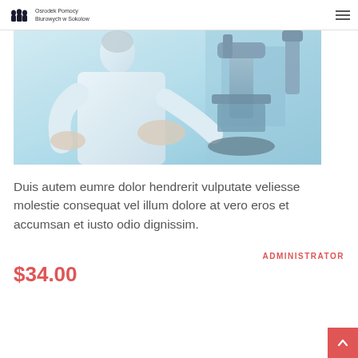Osrodek Pomocy Biurowych w Sokolow
[Figure (photo): Scientist in white lab coat looking through a microscope in a laboratory setting, blue-tinted clinical photo]
Duis autem eumre dolor hendrerit vulputate veliesse molestie consequat vel illum dolore at vero eros et accumsan et iusto odio dignissim.
ADMINISTRATOR
$34.00